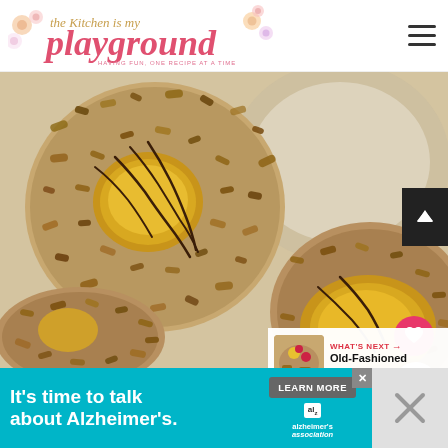[Figure (logo): The Kitchen is my Playground blog logo with decorative flowers and text]
[Figure (photo): Close-up photo of turtle thumbprint cookies with caramel centers, chopped pecans coating, and chocolate drizzle on a light background]
[Figure (photo): WHAT'S NEXT panel showing thumbnail of Old-Fashioned Fruitcake recipe]
[Figure (infographic): Advertisement banner: It's time to talk about Alzheimer's. LEARN MORE button. alzheimer's association logo.]